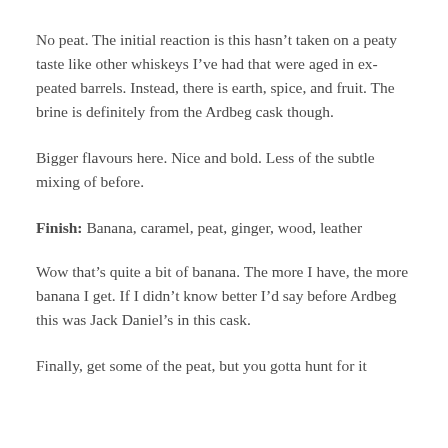No peat. The initial reaction is this hasn’t taken on a peaty taste like other whiskeys I’ve had that were aged in ex-peated barrels. Instead, there is earth, spice, and fruit. The brine is definitely from the Ardbeg cask though.
Bigger flavours here. Nice and bold. Less of the subtle mixing of before.
Finish: Banana, caramel, peat, ginger, wood, leather
Wow that’s quite a bit of banana. The more I have, the more banana I get. If I didn’t know better I’d say before Ardbeg this was Jack Daniel’s in this cask.
Finally, get some of the peat, but you gotta hunt for it